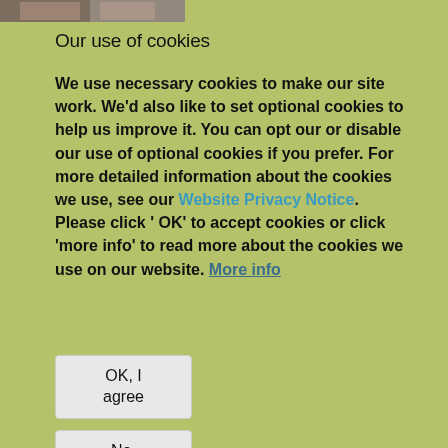[Figure (photo): Partial image of faces at the top of the page, cropped]
Our use of cookies
We use necessary cookies to make our site work. We'd also like to set optional cookies to help us improve it. You can opt our or disable our use of optional cookies if you prefer. For more detailed information about the cookies we use, see our Website Privacy Notice. Please click ' OK' to accept cookies or click 'more info' to read more about the cookies we use on our website. More info
OK, I agree
No, thanks